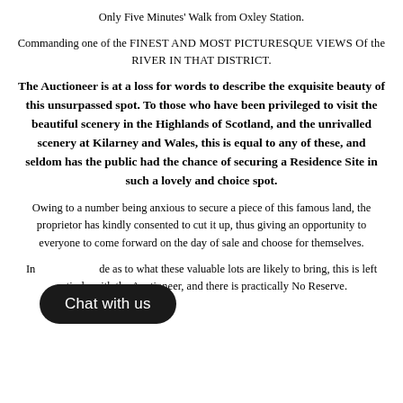Only Five Minutes' Walk from Oxley Station.
Commanding one of the FINEST AND MOST PICTURESQUE VIEWS Of the RIVER IN THAT DISTRICT.
The Auctioneer is at a loss for words to describe the exquisite beauty of this unsurpassed spot. To those who have been privileged to visit the beautiful scenery in the Highlands of Scotland, and the unrivalled scenery at Kilarney and Wales, this is equal to any of these, and seldom has the public had the chance of securing a Residence Site in such a lovely and choice spot.
Owing to a number being anxious to secure a piece of this famous land, the proprietor has kindly consented to cut it up, thus giving an opportunity to everyone to come forward on the day of sale and choose for themselves.
In[...] de as to what these valuable lots are likely to bring, this is left entirely with the Auctioneer, and there is practically No Reserve.